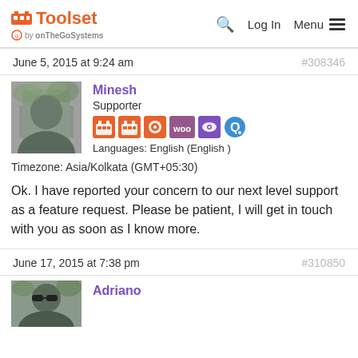Toolset by onTheGoSystems — Log In  Menu
June 5, 2015 at 9:24 am  #308346
Minesh
Supporter
Languages: English (English )
Timezone: Asia/Kolkata (GMT+05:30)
Ok. I have reported your concern to our next level support as a feature request. Please be patient, I will get in touch with you as soon as I know more.
June 17, 2015 at 7:38 pm  #310850
Adriano